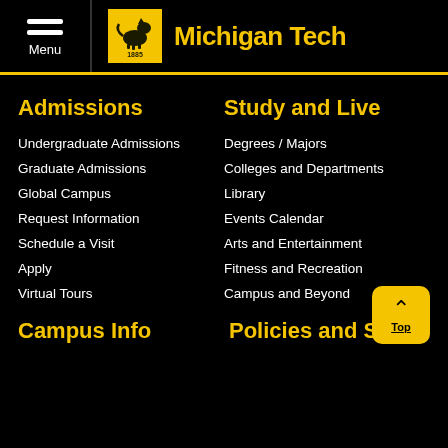Menu | Michigan Tech
Admissions
Undergraduate Admissions
Graduate Admissions
Global Campus
Request Information
Schedule a Visit
Apply
Virtual Tours
Study and Live
Degrees / Majors
Colleges and Departments
Library
Events Calendar
Arts and Entertainment
Fitness and Recreation
Campus and Beyond
Campus Info
Policies and Safety